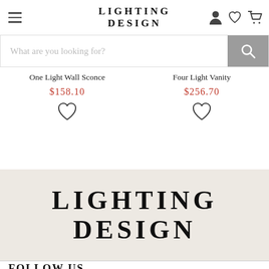LIGHTING DESIGN
What are you looking for?
One Light Wall Sconce
$158.10
Four Light Vanity
$256.70
LIGHTING DESIGN
FOLLOW US